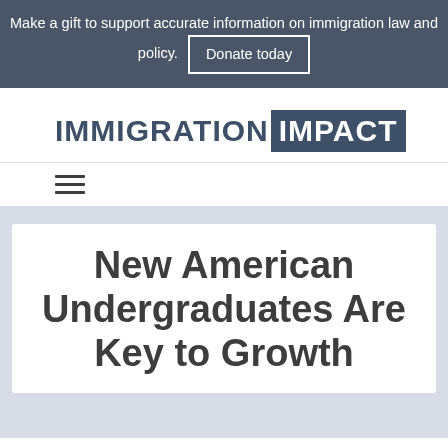Make a gift to support accurate information on immigration law and policy. Donate today
[Figure (logo): Immigration Impact logo — 'IMMIGRATION' in dark blue-grey, 'IMPACT' in white on dark blue-grey background]
[Figure (other): Hamburger menu icon (three horizontal lines)]
New American Undergraduates Are Key to Growth